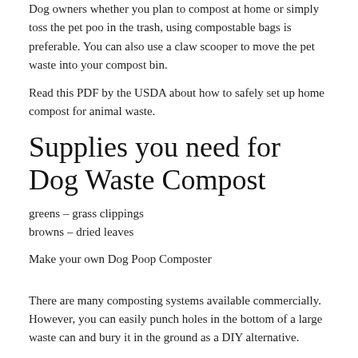Dog owners whether you plan to compost at home or simply toss the pet poo in the trash, using compostable bags is preferable. You can also use a claw scooper to move the pet waste into your compost bin.
Read this PDF by the USDA about how to safely set up home compost for animal waste.
Supplies you need for Dog Waste Compost
greens – grass clippings
browns – dried leaves
Make your own Dog Poop Composter
There are many composting systems available commercially. However, you can easily punch holes in the bottom of a large waste can and bury it in the ground as a DIY alternative.
Keep grass clippings or dry leaves nearby to cover the dog waste. When your dog goes number two, shovel it into the can, cover it with grass clippings and put the lid back on. The holes in